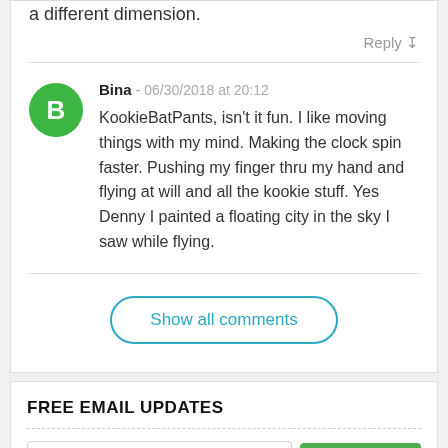a different dimension.
Reply ↧
Bina - 06/30/2018 at 20:12
KookieBatPants, isn't it fun. I like moving things with my mind. Making the clock spin faster. Pushing my finger thru my hand and flying at will and all the kookie stuff. Yes Denny I painted a floating city in the sky I saw while flying.
Show all comments
FREE EMAIL UPDATES
your@email.com
SUBSCRIBE